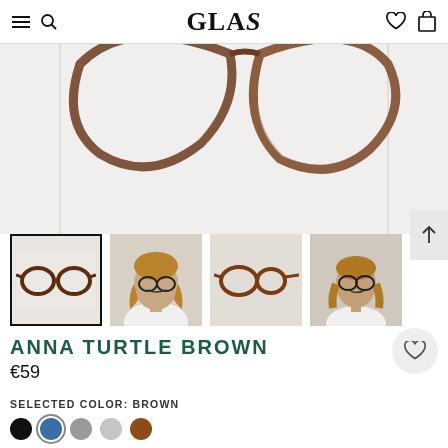GLAS — navigation header with menu, search, wishlist, cart icons
[Figure (photo): Top portion of round tortoise shell brown eyeglasses on white/light grey background — product hero shot cropped]
[Figure (photo): Thumbnail 1 (selected): Front view of Anna Turtle Brown eyeglasses on white background]
[Figure (photo): Thumbnail 2: Young woman with blonde hair wearing the Anna Turtle Brown glasses, smiling, white shirt]
[Figure (photo): Thumbnail 3: Side profile view of the Anna Turtle Brown eyeglasses on light background]
[Figure (photo): Thumbnail 4: Young woman portrait wearing the glasses, similar to thumbnail 2]
ANNA TURTLE BROWN
€59
SELECTED COLOR: BROWN